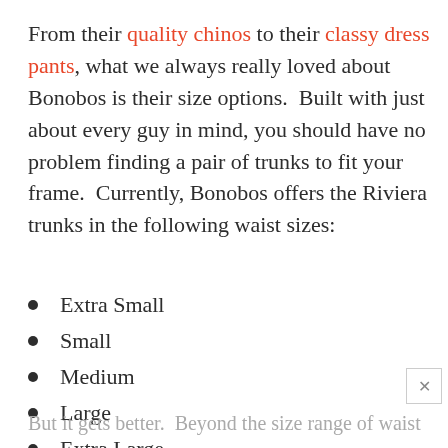From their quality chinos to their classy dress pants, what we always really loved about Bonobos is their size options.  Built with just about every guy in mind, you should have no problem finding a pair of trunks to fit your frame.  Currently, Bonobos offers the Riviera trunks in the following waist sizes:
Extra Small
Small
Medium
Large
Extra Large
2-Extra Large
But it gets better.  Beyond the size range of waist